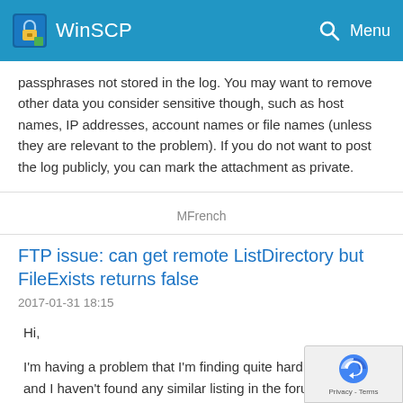WinSCP
passphrases not stored in the log. You may want to remove other data you consider sensitive though, such as host names, IP addresses, account names or file names (unless they are relevant to the problem). If you do not want to post the log publicly, you can mark the attachment as private.
MFrench
FTP issue: can get remote ListDirectory but FileExists returns false
2017-01-31 18:15
Hi,
I'm having a problem that I'm finding quite hard to debug and I haven't found any similar listing in the forum.